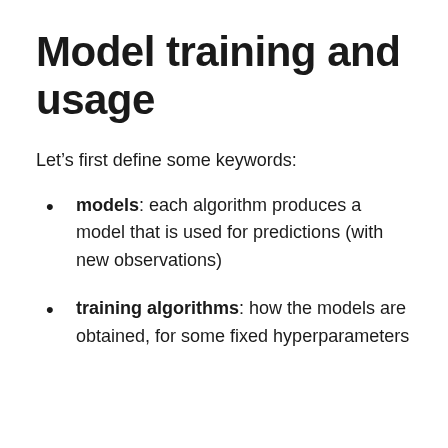Model training and usage
Let’s first define some keywords:
models: each algorithm produces a model that is used for predictions (with new observations)
training algorithms: how the models are obtained, for some fixed hyperparameters